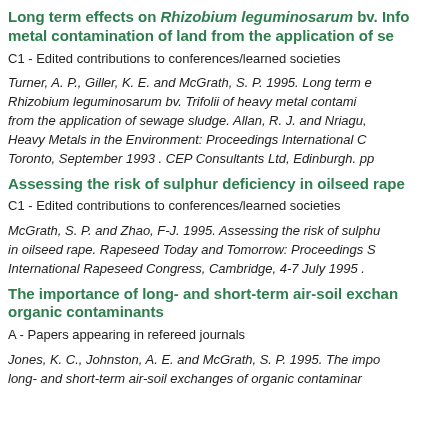Long term effects on Rhizobium leguminosarum bv. Info metal contamination of land from the application of se
C1 - Edited contributions to conferences/learned societies
Turner, A. P., Giller, K. E. and McGrath, S. P. 1995. Long term e Rhizobium leguminosarum bv. Trifolii of heavy metal contami from the application of sewage sludge. Allan, R. J. and Nriagu, Heavy Metals in the Environment: Proceedings International C Toronto, September 1993 . CEP Consultants Ltd, Edinburgh. pp
Assessing the risk of sulphur deficiency in oilseed rape
C1 - Edited contributions to conferences/learned societies
McGrath, S. P. and Zhao, F-J. 1995. Assessing the risk of sulphu in oilseed rape. Rapeseed Today and Tomorrow: Proceedings S International Rapeseed Congress, Cambridge, 4-7 July 1995 .
The importance of long- and short-term air-soil exchan organic contaminants
A - Papers appearing in refereed journals
Jones, K. C., Johnston, A. E. and McGrath, S. P. 1995. The impo long- and short-term air-soil exchanges of organic contaminar